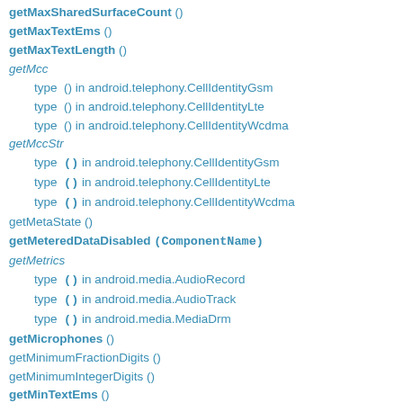getMaxSharedSurfaceCount ()
getMaxTextEms ()
getMaxTextLength ()
getMcc
type  () in android.telephony.CellIdentityGsm
type  () in android.telephony.CellIdentityLte
type  () in android.telephony.CellIdentityWcdma
getMccStr
type  () in android.telephony.CellIdentityGsm
type  () in android.telephony.CellIdentityLte
type  () in android.telephony.CellIdentityWcdma
getMetaState ()
getMeteredDataDisabled (ComponentName)
getMetrics
type  () in android.media.AudioRecord
type  () in android.media.AudioTrack
type  () in android.media.MediaDrm
getMicrophones ()
getMinimumFractionDigits ()
getMinimumIntegerDigits ()
getMinTextEms ()
getMinusSignString ()
getMnc